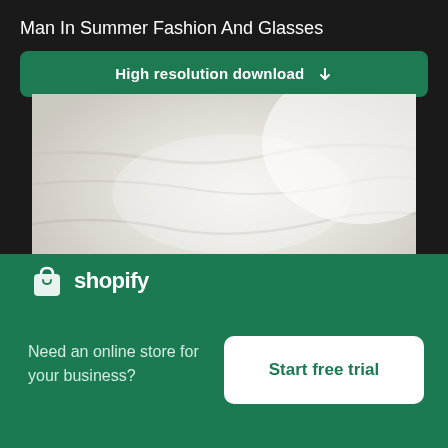Man In Summer Fashion And Glasses
High resolution download ↓
[Figure (photo): Close-up blurred photo of a white/light-colored fabric or textile, appears to be part of a shirt or summer clothing item]
[Figure (logo): Shopify logo with shopping bag icon and 'shopify' text in white on green background]
Need an online store for your business?
Start free trial